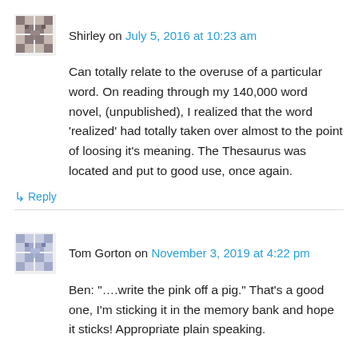Shirley on July 5, 2016 at 10:23 am
Can totally relate to the overuse of a particular word. On reading through my 140,000 word novel, (unpublished), I realized that the word ‘realized’ had totally taken over almost to the point of loosing it's meaning. The Thesaurus was located and put to good use, once again.
↳ Reply
Tom Gorton on November 3, 2019 at 4:22 pm
Ben: “….write the pink off a pig.” That’s a good one, I’m sticking it in the memory bank and hope it sticks! Appropriate plain speaking.